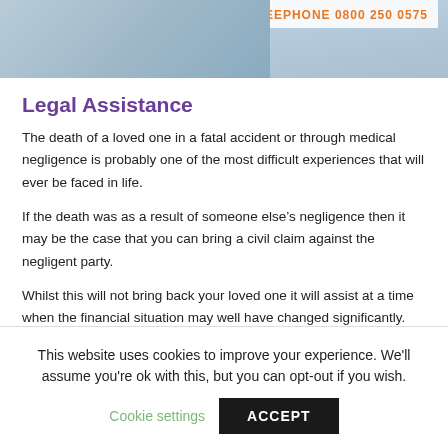[Figure (photo): Partial photo of hands, with orange telephone number banner overlay reading 'FREEPHONE 0800 250 0575']
Legal Assistance
The death of a loved one in a fatal accident or through medical negligence is probably one of the most difficult experiences that will ever be faced in life.
If the death was as a result of someone else's negligence then it may be the case that you can bring a civil claim against the negligent party.
Whilst this will not bring back your loved one it will assist at a time when the financial situation may well have changed significantly.
Who can claim?
This website uses cookies to improve your experience. We'll assume you're ok with this, but you can opt-out if you wish.